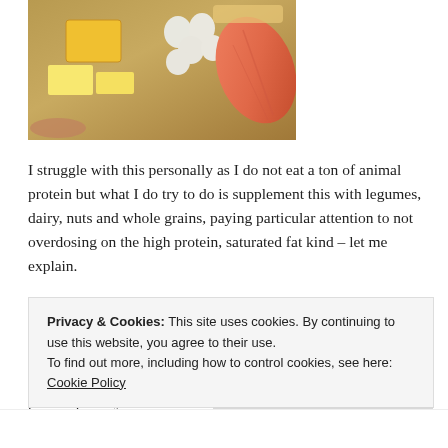[Figure (photo): Food photography showing various protein sources including cheese, eggs, butter, salmon, and other animal proteins arranged on a surface]
I struggle with this personally as I do not eat a ton of animal protein but what I do try to do is supplement this with legumes, dairy, nuts and whole grains, paying particular attention to not overdosing on the high protein, saturated fat kind – let me explain.
The experts say that our intake should be approximately 50% in grams of our total body weight. For example, if you weigh 150 pounds, you should be taking in approximately 75 grams of protein per day. Now this is true for any healthy individual, not including your
Privacy & Cookies: This site uses cookies. By continuing to use this website, you agree to their use.
To find out more, including how to control cookies, see here: Cookie Policy
Close and accept